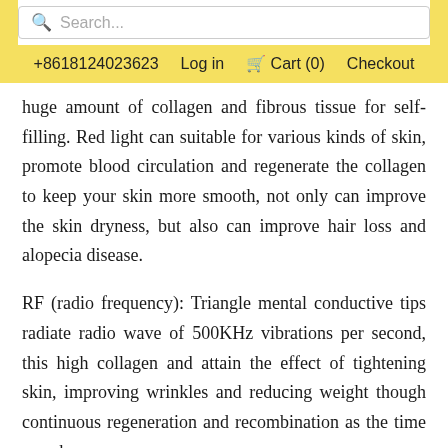Search... | +8618124023623 | Log in | Cart (0) | Checkout
huge amount of collagen and fibrous tissue for self-filling. Red light can suitable for various kinds of skin, promote blood circulation and regenerate the collagen to keep your skin more smooth, not only can improve the skin dryness, but also can improve hair loss and alopecia disease.
RF (radio frequency): Triangle mental conductive tips radiate radio wave of 500KHz vibrations per second, this high collagen and attain the effect of tightening skin, improving wrinkles and reducing weight though continuous regeneration and recombination as the time goes by.
Besides, the RF intensity of this device have 4 levels froms weak